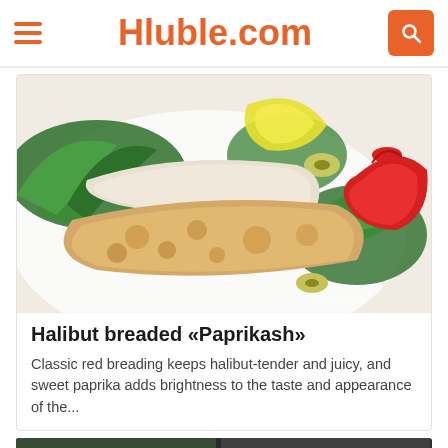Hluble.com
[Figure (photo): Plate of halibut breaded Paprikash with arugula salad, cherry tomatoes, lemon wedge, and olives on a white plate. Watermark: hluble.com]
Halibut breaded «Paprikash»
Classic red breading keeps halibut-tender and juicy, and sweet paprika adds brightness to the taste and appearance of the...
[Figure (photo): Partial view of a second food photo at the bottom of the page]